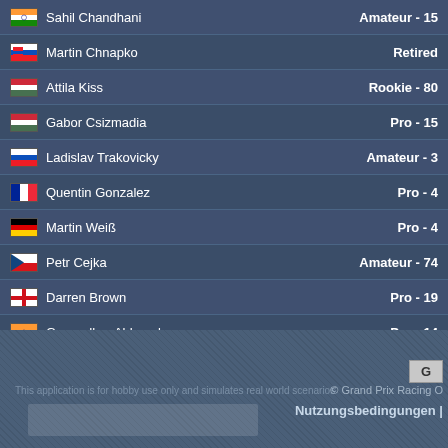| Name | Status |
| --- | --- |
| Sahil Chandhani | Amateur - 15 |
| Martin Chnapko | Retired |
| Attila Kiss | Rookie - 80 |
| Gabor Csizmadia | Pro - 15 |
| Ladislav Trakovicky | Amateur - 3 |
| Quentin Gonzalez | Pro - 4 |
| Martin Weiß | Pro - 4 |
| Petr Cejka | Amateur - 74 |
| Darren Brown | Pro - 19 |
| Gangadhar Abhyankar | Pro - 14 |
| Emiliano Macor | Amateur - 33 |
| Nestor Vicente | Pro - 9 |
| Robert Pezzi | Rookie - 45 |
| Mirco Baldini | Pro - 11 |
| Josef Kuman | Amateur - 64 |
| Cyril Tracta | Amateur - 45 |
Seite [1] 2 3 ... 53 54 55 »
© Grand Prix Racing O
Nutzungsbedingungen |